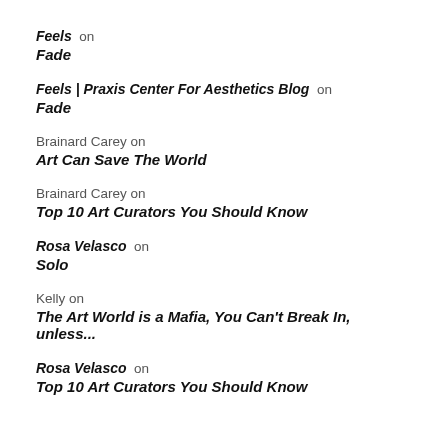Feels on
Fade
Feels | Praxis Center For Aesthetics Blog on
Fade
Brainard Carey on
Art Can Save The World
Brainard Carey on
Top 10 Art Curators You Should Know
Rosa Velasco on
Solo
Kelly on
The Art World is a Mafia, You Can't Break In, unless...
Rosa Velasco on
Top 10 Art Curators You Should Know